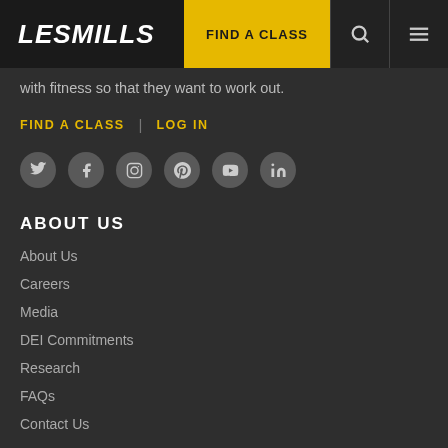LES MILLS | FIND A CLASS
with fitness so that they want to work out.
FIND A CLASS | LOG IN
[Figure (other): Social media icons: Twitter, Facebook, Instagram, Pinterest, YouTube, LinkedIn]
ABOUT US
About Us
Careers
Media
DEI Commitments
Research
FAQs
Contact Us
Report Piracy